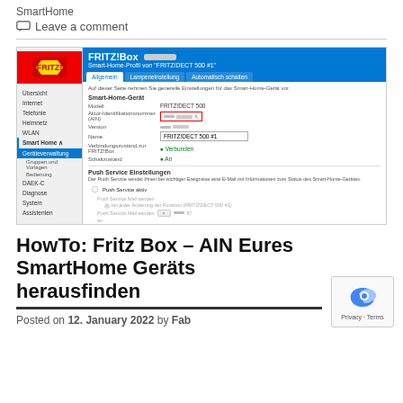SmartHome
Leave a comment
[Figure (screenshot): Screenshot of Fritz!Box Smart-Home-Profil interface showing Geräteverwaltung section with FRITZ!DECT 500 #1 device settings including AIN field highlighted in red border, model FRITZ!DECT 500, name FRITZ!DECT 500 #1, Verbindungszustand Verbunden, Schaltzustand An]
HowTo: Fritz Box – AIN Eures SmartHome Geräts herausfinden
Posted on 12. January 2022 by Fab